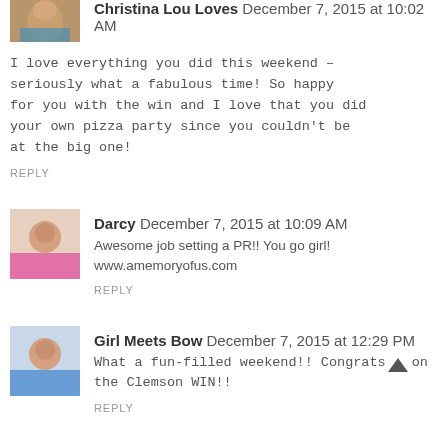[Figure (photo): Avatar photo of Christina Lou Loves (partially cropped at top)]
Christina Lou Loves December 7, 2015 at 10:02 AM
I love everything you did this weekend – seriously what a fabulous time! So happy for you with the win and I love that you did your own pizza party since you couldn't be at the big one!
REPLY
[Figure (photo): Avatar photo of Darcy (woman in pink)]
Darcy December 7, 2015 at 10:09 AM
Awesome job setting a PR!! You go girl! www.amemoryofus.com
REPLY
[Figure (photo): Avatar photo of Girl Meets Bow]
Girl Meets Bow December 7, 2015 at 12:29 PM
What a fun-filled weekend!! Congrats on the Clemson WIN!!
REPLY